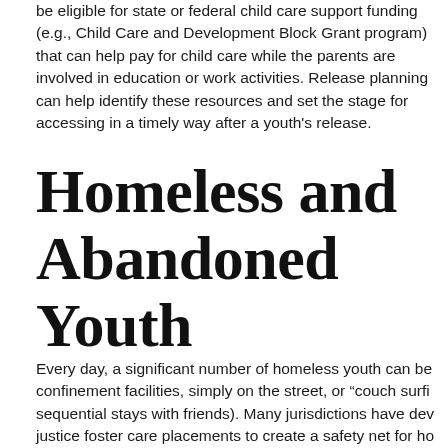be eligible for state or federal child care support funding (e.g., Child Care and Development Block Grant program) that can help pay for child care while the parents are involved in education or work activities. Release planning can help identify these resources and set the stage for accessing in a timely way after a youth's release.
Homeless and Abandoned Youth
Every day, a significant number of homeless youth can be found in juvenile confinement facilities, simply on the street, or "couch surfing" (making sequential stays with friends). Many jurisdictions have developed juvenile justice foster care placements to create a safety net for homeless youth in the justice system. Other jurisdictions have invested in relation...